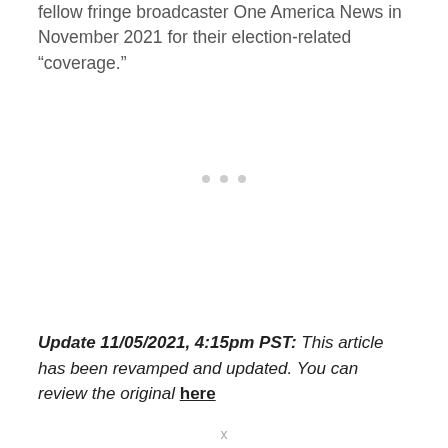fellow fringe broadcaster One America News in November 2021 for their election-related “coverage.”
[Figure (other): Advertisement placeholder indicated by three grey dots]
Update 11/05/2021, 4:15pm PST: This article has been revamped and updated. You can review the original here